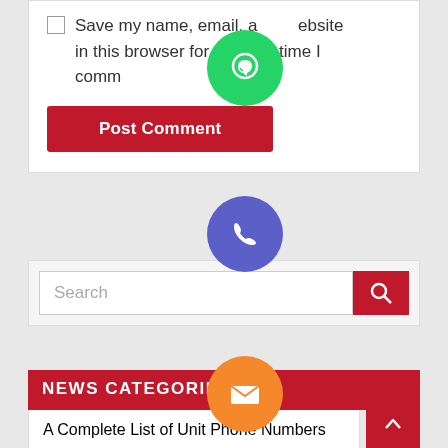[Figure (screenshot): Checkbox and 'Save my name, email, and website in this browser for the next time I comment.' text with Post Comment button on white card]
[Figure (screenshot): Search input field with red search button]
NEWS CATEGORIES
A Complete List of Unit Phone Numbers
[Figure (infographic): Vertical stack of social media icon buttons: WhatsApp (green), Phone (blue/purple), Email (orange), LINE (green), Viber (purple), Close/X (green)]